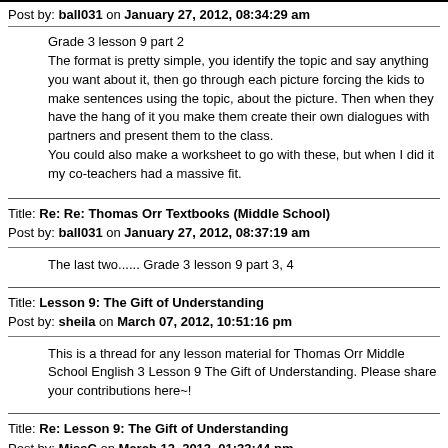Post by: ball031 on January 27, 2012, 08:34:29 am
Grade 3 lesson 9 part 2
The format is pretty simple, you identify the topic and say anything you want about it, then go through each picture forcing the kids to make sentences using the topic, about the picture. Then when they have the hang of it you make them create their own dialogues with partners and present them to the class.
You could also make a worksheet to go with these, but when I did it my co-teachers had a massive fit.
Title: Re: Re: Thomas Orr Textbooks (Middle School)
Post by: ball031 on January 27, 2012, 08:37:19 am
The last two...... Grade 3 lesson 9 part 3, 4
Title: Lesson 9: The Gift of Understanding
Post by: sheila on March 07, 2012, 10:51:16 pm
This is a thread for any lesson material for Thomas Orr Middle School English 3 Lesson 9 The Gift of Understanding.  Please share your contributions here~!
Title: Re: Lesson 9: The Gift of Understanding
Post by: MissC on March 12, 2012, 01:33:44 pm